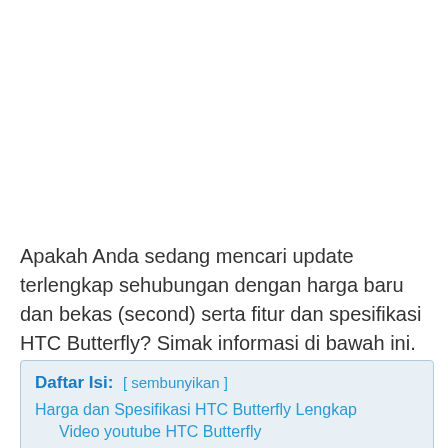Apakah Anda sedang mencari update terlengkap sehubungan dengan harga baru dan bekas (second) serta fitur dan spesifikasi HTC Butterfly? Simak informasi di bawah ini.
Daftar Isi: [ sembunyikan ] Harga dan Spesifikasi HTC Butterfly Lengkap Video youtube HTC Butterfly